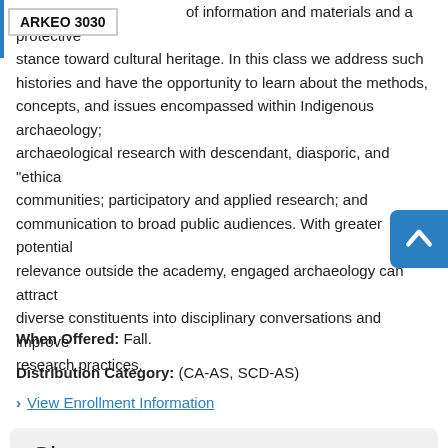ARKEO 3030
of information and materials and a protective stance toward cultural heritage. In this class we address such histories and have the opportunity to learn about the methods, concepts, and issues encompassed within Indigenous archaeology; archaeological research with descendant, diasporic, and "ethical" communities; participatory and applied research; and communication to broad public audiences. With greater potential relevance outside the academy, engaged archaeology can attract diverse constituents into disciplinary conversations and improve research practices.
When Offered: Fall.
Distribution Category: (CA-AS, SCD-AS)
View Enrollment Information
Share
Disabled for this roster.